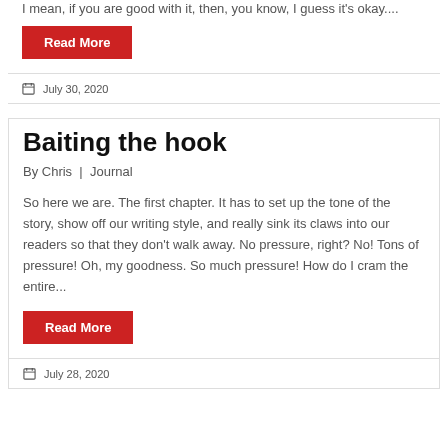I mean, if you are good with it, then, you know, I guess it's okay....
Read More
July 30, 2020
Baiting the hook
By Chris | Journal
So here we are. The first chapter. It has to set up the tone of the story, show off our writing style, and really sink its claws into our readers so that they don't walk away. No pressure, right? No! Tons of pressure! Oh, my goodness. So much pressure! How do I cram the entire...
Read More
July 28, 2020